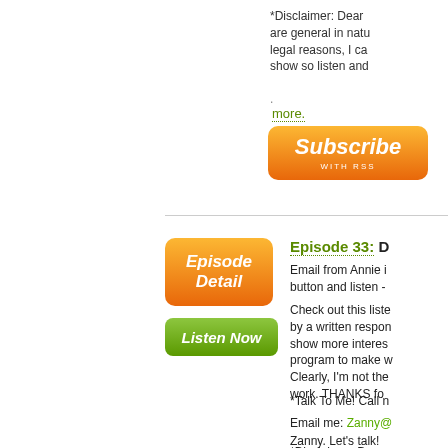*Disclaimer: Dear ... are general in natu... legal reasons, I ca... show so listen and...
.
more.
[Figure (other): Subscribe with RSS orange button]
[Figure (other): Episode Detail orange button]
[Figure (other): Listen Now green button]
Episode 33: D
Email from Annie i... button and listen -
Check out this liste... by a written respon... show more interes... program to make w... Clearly, I'm not the... work.  THANKS fo...
*Talk To Me!  Call n
Email me:  Zanny@... Zanny. Let's talk!
*Disclaimer:  Dear ...